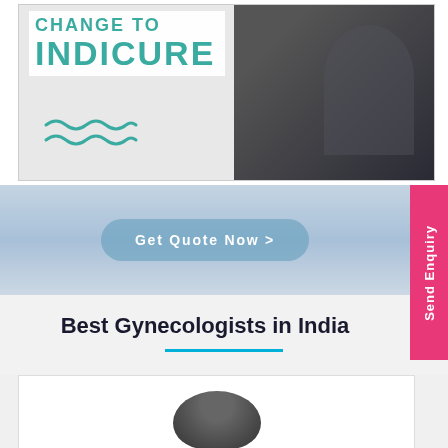[Figure (screenshot): Screenshot of Indicure website header showing 'CHANGE TO INDICURE' text in teal on white background, with a dark background on the right showing a person's silhouette, and teal wave/aquarius symbol below the text]
[Figure (other): Light blue gradient banner with a rounded 'Get Quote Now >' button in semi-transparent teal/blue]
Send Enquiry
Best Gynecologists in India
[Figure (photo): Partial photo of a doctor (head/shoulders silhouette) at the bottom of the page]